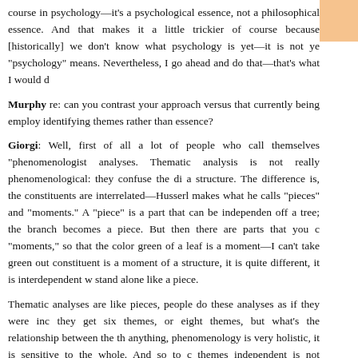course in psychology—it's a psychological essence, not a philosophical essence. And that makes it a little trickier of course because [historically] we don't know what psychology is yet—it is not yet what "psychology" means. Nevertheless, I go ahead and do that—that's what I would d
Murphy re: can you contrast your approach versus that currently being employed identifying themes rather than essence?
Giorgi: Well, first of all a lot of people who call themselves "phenomenologists" do thematic analyses. Thematic analysis is not really phenomenological: they confuse the difference between a theme and a structure. The difference is, the constituents are interrelated—Husserl makes a distinction between what he calls "pieces" and "moments." A "piece" is a part that can be independent—you cut a branch off a tree; the branch becomes a piece. But then there are parts that you can't separate called "moments," so that the color green of a leaf is a moment—I can't take green out of the leaf. When a constituent is a moment of a structure, it is quite different, it is interdependent with the whole and can't stand alone like a piece.
Thematic analyses are like pieces, people do these analyses as if they were independent pieces; they get six themes, or eight themes, but what's the relationship between the themes? If anything, phenomenology is very holistic, it is sensitive to the whole. And so to do the various themes independent is not satisfactory, at least according to phenomenological c
Now, if you have other criteria, it may be OK, but you're really an empiricist—you use Grounded Theory, and you come up with the various themes, that's OK because they are not committed to phenomenological philosophy.  But we want to come up with an interdepend